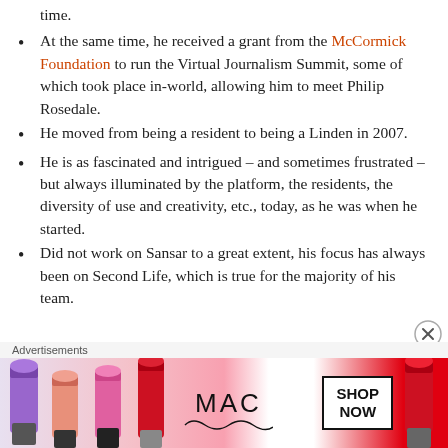time.
At the same time, he received a grant from the McCormick Foundation to run the Virtual Journalism Summit, some of which took place in-world, allowing him to meet Philip Rosedale.
He moved from being a resident to being a Linden in 2007.
He is as fascinated and intrigued – and sometimes frustrated – but always illuminated by the platform, the residents, the diversity of use and creativity, etc., today, as he was when he started.
Did not work on Sansar to a great extent, his focus has always been on Second Life, which is true for the majority of his team.
[Figure (other): MAC Cosmetics advertisement showing lipsticks with SHOP NOW button]